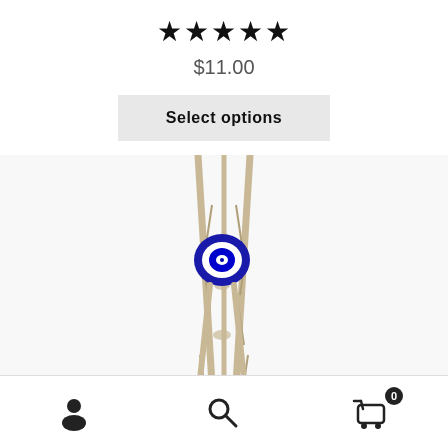★★★★★
$11.00
Select options
[Figure (photo): Close-up photo of a macrame bracelet or hanging with a blue evil eye bead. The cord is beige/tan colored, and a deep blue glass evil eye bead is visible in the center/upper portion, with a larger blue disk visible at the bottom edge.]
[Figure (other): Bottom navigation bar with three icons: user/account icon on the left, search/magnifying glass icon in the center, and shopping cart icon with badge showing '0' on the right.]